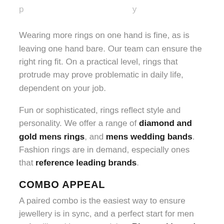Wearing more rings on one hand is fine, as is leaving one hand bare. Our team can ensure the right ring fit. On a practical level, rings that protrude may prove problematic in daily life, dependent on your job.
Fun or sophisticated, rings reflect style and personality. We offer a range of diamond and gold mens rings, and mens wedding bands. Fashion rings are in demand, especially ones that reference leading brands.
COMBO APPEAL
A paired combo is the easiest way to ensure jewellery is in sync, and a perfect start for men unfamiliar with accessorising. Ring and bracelet combinations are popular for those wanting a cosmopolitan finish.
Matching earrings and chains can also be